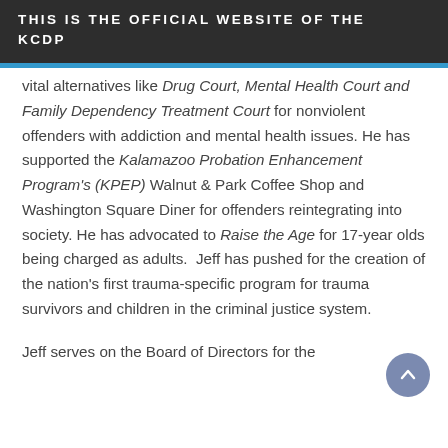THIS IS THE OFFICIAL WEBSITE OF THE KCDP
vital alternatives like Drug Court, Mental Health Court and Family Dependency Treatment Court for nonviolent offenders with addiction and mental health issues. He has supported the Kalamazoo Probation Enhancement Program's (KPEP) Walnut & Park Coffee Shop and Washington Square Diner for offenders reintegrating into society. He has advocated to Raise the Age for 17-year olds being charged as adults. Jeff has pushed for the creation of the nation's first trauma-specific program for trauma survivors and children in the criminal justice system.
Jeff serves on the Board of Directors for the